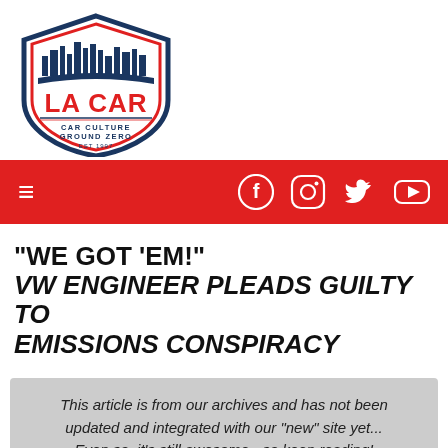[Figure (logo): LA CAR shield logo with city skyline, red and navy blue, text: LA CAR, CAR CULTURE GROUND ZERO, EST 1997]
☰   🔵 📷 🐦 ▶
"WE GOT 'EM!" VW ENGINEER PLEADS GUILTY TO EMISSIONS CONSPIRACY
This article is from our archives and has not been updated and integrated with our "new" site yet... Even so, it's still awesome - so keep reading!